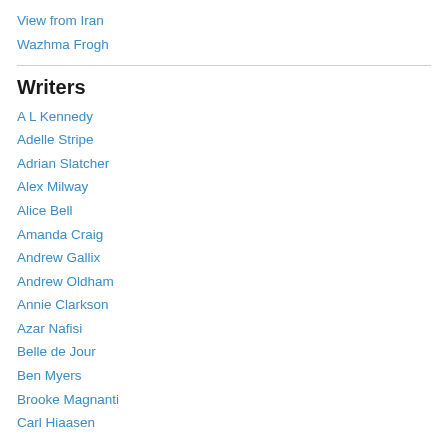View from Iran
Wazhma Frogh
Writers
A L Kennedy
Adelle Stripe
Adrian Slatcher
Alex Milway
Alice Bell
Amanda Craig
Andrew Gallix
Andrew Oldham
Annie Clarkson
Azar Nafisi
Belle de Jour
Ben Myers
Brooke Magnanti
Carl Hiaasen